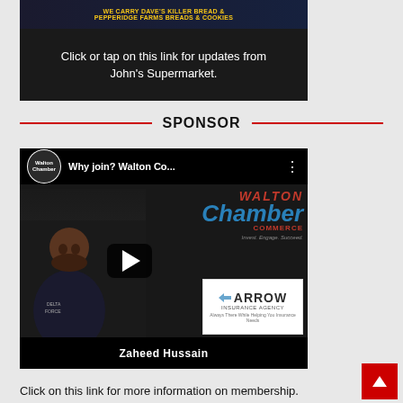[Figure (photo): Ad banner for John's Supermarket featuring Dave's Killer Bread and Pepperidge Farms Breads & Cookies]
Click or tap on this link for updates from John's Supermarket.
SPONSOR
[Figure (screenshot): YouTube video thumbnail for 'Why join? Walton Co...' featuring Walton Chamber of Commerce branding, a play button, a person (Zaheed Hussain), and Arrow Insurance Agency logo]
Click on this link for more information on membership.